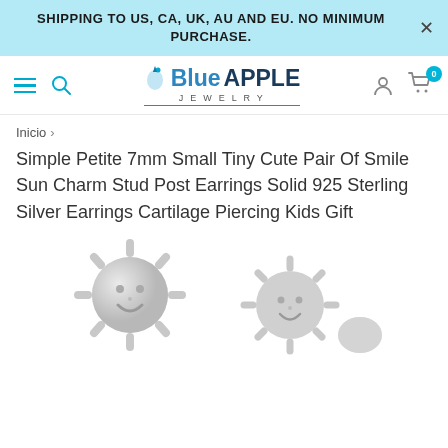SHIPPING TO US, CA, UK, AU AND EU. NO MINIMUM PURCHASE.
[Figure (logo): Blue Apple Jewelry logo with stylized text and gem icon]
Inicio >
Simple Petite 7mm Small Tiny Cute Pair Of Smile Sun Charm Stud Post Earrings Solid 925 Sterling Silver Earrings Cartilage Piercing Kids Gift
[Figure (photo): Two silver sun charm stud earrings with smiling face design, shown close-up on white background]